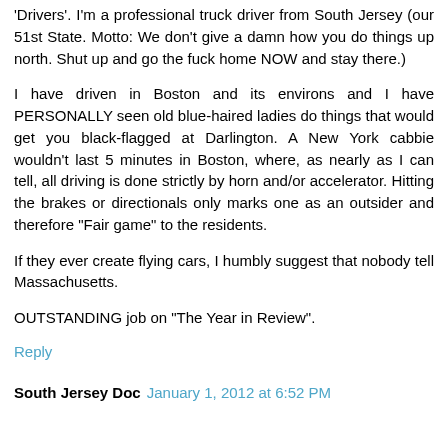'Drivers'. I'm a professional truck driver from South Jersey (our 51st State. Motto: We don't give a damn how you do things up north. Shut up and go the fuck home NOW and stay there.)
I have driven in Boston and its environs and I have PERSONALLY seen old blue-haired ladies do things that would get you black-flagged at Darlington. A New York cabbie wouldn't last 5 minutes in Boston, where, as nearly as I can tell, all driving is done strictly by horn and/or accelerator. Hitting the brakes or directionals only marks one as an outsider and therefore "Fair game" to the residents.
If they ever create flying cars, I humbly suggest that nobody tell Massachusetts.
OUTSTANDING job on "The Year in Review".
Reply
South Jersey Doc January 1, 2012 at 6:52 PM